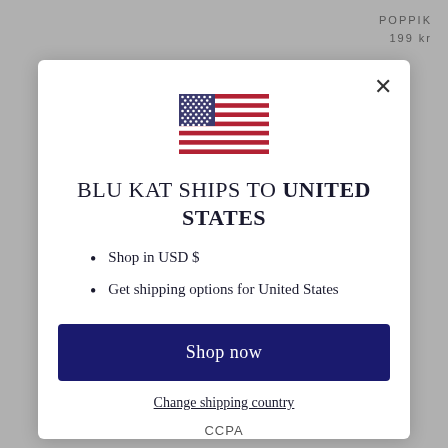POPPIK
199 kr
[Figure (illustration): American flag icon/emoji displayed centered above the modal title]
BLU KAT SHIPS TO UNITED STATES
Shop in USD $
Get shipping options for United States
Shop now
Change shipping country
CCPA